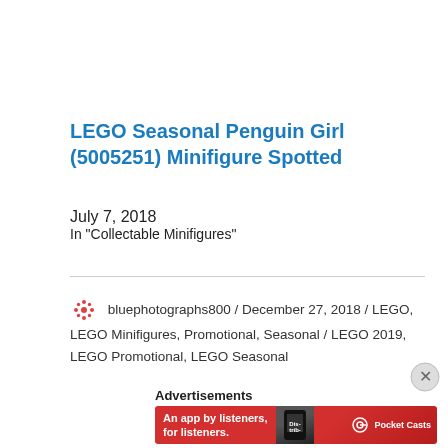LEGO Seasonal Penguin Girl (5005251) Minifigure Spotted
July 7, 2018
In "Collectable Minifigures"
bluephotographs800 / December 27, 2018 / LEGO, LEGO Minifigures, Promotional, Seasonal / LEGO 2019, LEGO Promotional, LEGO Seasonal
[Figure (infographic): Advertisement banner for Pocket Casts app with red background, text 'An app by listeners, for listeners.' and Pocket Casts logo]